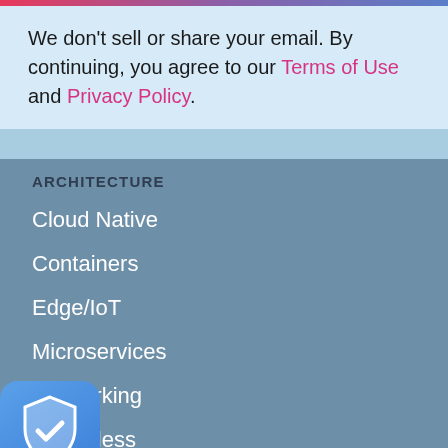We don't sell or share your email. By continuing, you agree to our Terms of Use and Privacy Policy.
ARCHITECTURE
Cloud Native
Containers
Edge/IoT
Microservices
Networking
Serverless
Storage
[Figure (illustration): Shield icon with checkmark in blue rounded square]
...LOPMENT